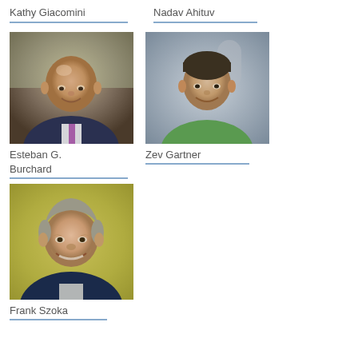Kathy Giacomini
Nadav Ahituv
[Figure (photo): Headshot of Esteban G. Burchard, a bald man in a dark suit with a purple tie, smiling outdoors]
[Figure (photo): Headshot of Zev Gartner, a man with short dark hair wearing a green shirt, smiling indoors]
Esteban G. Burchard
Zev Gartner
[Figure (photo): Headshot of Frank Szoka, an older man with gray hair wearing a dark jacket, smiling with a warm background]
Frank Szoka